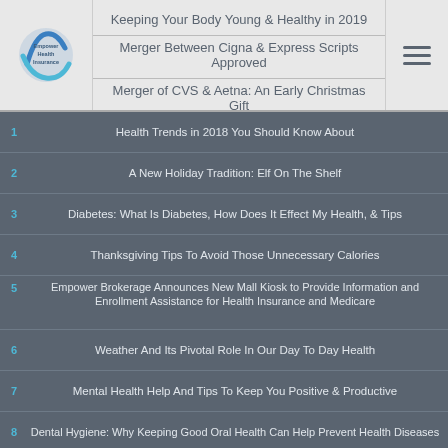Empower Health Insurance
Keeping Your Body Young & Healthy in 2019
Merger Between Cigna & Express Scripts Approved
Merger of CVS & Aetna: An Early Christmas Gift
1 Health Trends in 2018 You Should Know About
2 A New Holiday Tradition: Elf On The Shelf
3 Diabetes: What Is Diabetes, How Does It Effect My Health, & Tips
4 Thanksgiving Tips To Avoid Those Unnecessary Calories
5 Empower Brokerage Announces New Mall Kiosk to Provide Information and Enrollment Assistance for Health Insurance and Medicare
6 Weather And Its Pivotal Role In Our Day To Day Health
7 Mental Health Help And Tips To Keep You Positive & Productive
8 Dental Hygiene: Why Keeping Good Oral Health Can Help Prevent Health Diseases
9 Employer Health Insurance: Tips for Purchasing Plans for Your Employees
10 Increasing Brain Health: What Are Benefits Of A Healthy Brain
11 Touch & Its Affects On Our Everyday Health
12 BulletProof Coffee: The Weightloss Drink Without the Crash
13 Mental Health Talks Between You And Your Child
14 AI Integration Into HealthCare Backed By WHO & UN: What Can We Expect
15 AEP Tips To Keep In Mind For Changing Your Health Plans